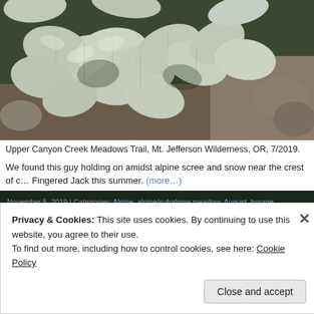[Figure (photo): Close-up photograph of silvery-green alpine plants with fuzzy/woolly leaves growing on rocky scree, taken at Upper Canyon Creek Meadows Trail, Mt. Jefferson Wilderness, OR]
Upper Canyon Creek Meadows Trail, Mt. Jefferson Wilderness, OR, 7/2019.
We found this guy holding on amidst alpine scree and snow near the crest of c… Fingered Jack this summer. (more…)
November 5, 2019 | Categories: Alpine, alpine/subalpine meadow, August, borage, Cascades woods, East of Cascades, grasslands/prarie, July, June, Mid Elevation, Olympics, Oregon, pink Southern Oregon / Northern California, white | Tags: flower, Mt. Jefferson Wilderness, Mt. R… Wildflowers | Leave a comment
Privacy & Cookies: This site uses cookies. By continuing to use this website, you agree to their use.
To find out more, including how to control cookies, see here: Cookie Policy